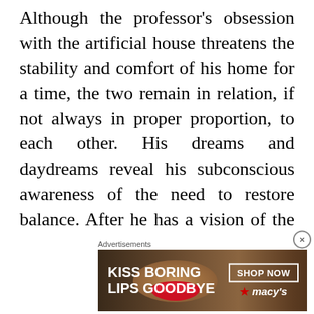Although the professor's obsession with the artificial house threatens the stability and comfort of his home for a time, the two remain in relation, if not always in proper proportion, to each other. His dreams and daydreams reveal his subconscious awareness of the need to restore balance. After he has a vision of the china dollhouse cat moving and drinking, after he dreams that the perfectly preserved dollhouse is outside and deteriorating in the damp weather, the importance of the toy begins to diminish and its reality has function...
Advertisements
[Figure (other): Advertisement banner for Macy's lipstick product. Shows a woman's face with red lips. Text reads: KISS BORING LIPS GOODBYE. SHOP NOW. Macy's logo with star.]